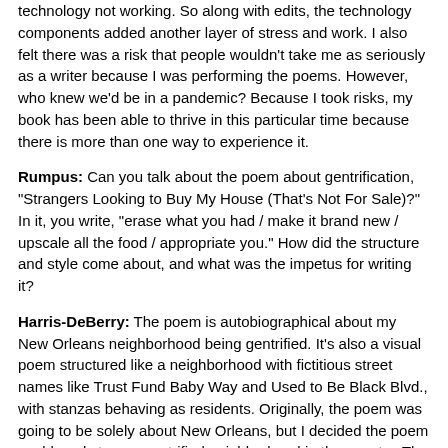technology not working. So along with edits, the technology components added another layer of stress and work. I also felt there was a risk that people wouldn't take me as seriously as a writer because I was performing the poems. However, who knew we'd be in a pandemic? Because I took risks, my book has been able to thrive in this particular time because there is more than one way to experience it.
Rumpus: Can you talk about the poem about gentrification, "Strangers Looking to Buy My House (That's Not For Sale)?" In it, you write, "erase what you had / make it brand new / upscale all the food / appropriate you." How did the structure and style come about, and what was the impetus for writing it?
Harris-DeBerry: The poem is autobiographical about my New Orleans neighborhood being gentrified. It's also a visual poem structured like a neighborhood with fictitious street names like Trust Fund Baby Way and Used to Be Black Blvd., with stanzas behaving as residents. Originally, the poem was going to be solely about New Orleans, but I decided the poem could apply to any gentrified neighborhood in the country. The response to this poem has great. Some people have even pointed out to me where they the poem. At times, it's funny; other times it's sobering and humbling